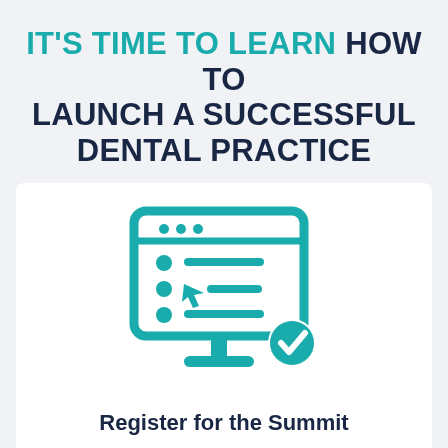IT'S TIME TO LEARN HOW TO LAUNCH A SUCCESSFUL DENTAL PRACTICE
[Figure (illustration): Teal icon of a computer monitor displaying a checklist/registration form with bullet points and a cursor, with a teal checkmark badge in the lower right corner]
Register for the Summit
[Figure (illustration): Teal button with a right-pointing arrow, partially visible at bottom of page]